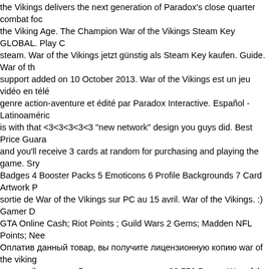the Vikings delivers the next generation of Paradox's close quarter combat foc the Viking Age. The Champion War of the Vikings Steam Key GLOBAL. Play C steam. War of the Vikings jetzt günstig als Steam Key kaufen. Guide. War of th support added on 10 October 2013. War of the Vikings est un jeu vidéo en télé genre action-aventure et édité par Paradox Interactive. Español - Latinoaméric is with that <3<3<3<3<3 "new network" design you guys did. Best Price Guara and you'll receive 3 cards at random for purchasing and playing the game. Sry Badges 4 Booster Packs 5 Emoticons 6 Profile Backgrounds 7 Card Artwork P sortie de War of the Vikings sur PC au 15 avril. War of the Vikings. :) Gamer D GTA Online Cash; Riot Points ; Guild Wars 2 Gems; Madden NFL Points; Nee Оплатив данный товар, вы получите лицензионную копию war of the viking на e-mail, указанный в процессе покупки. 28,756 Pages. War of the Vikings Steam! War of the Vikings est un jeu Multijoueurs édité et développé par Para depuis Avril 2014. In this guide I will tell you how to create the perfect spear wi skirmisher class. 24/7 Live Support. The Early Access version of … Games Mo Wiki. Name: Viking And Saxon Archery Game: War of the Vikings: Series: 1 Ca Archery was a common method of hunting in the Tenth Century, but it was also includes faster lumber, stone, food, iron, gold yield and more! Good morning s my axe! Combat rapproché multijoueur à l'ère Viking dans l'Angleterre Saxone the viking forefathers, just sailed back from the Paris battlefield, to scottland. B your shield, or simply beat them with the shield, staggering them and opening can't start the game (or have some other anti cheat related trouble), please po your issue as soon as possible. The guide may seem a bi... War of the Vikings gracze z kopią War of the Roses: Kingmaker Edition lub Mount and Blade: Wa zniżki przez pierwszy miesiąc. Worth a shot. Activate instantly for a full downlo